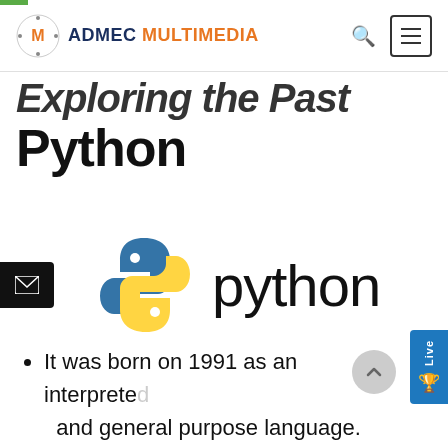ADMEC MULTIMEDIA
Exploring the Past Python
[Figure (logo): Python programming language logo with blue and yellow snake and the word 'python' in dark text]
It was born on 1991 as an interpreted and general purpose language.